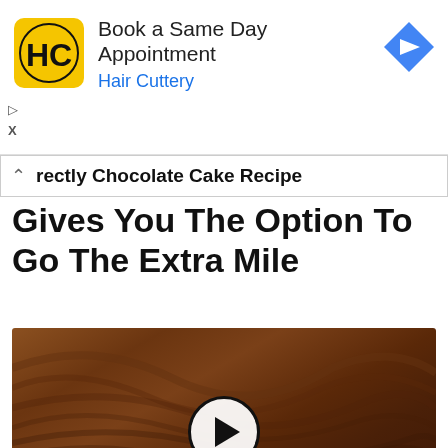[Figure (other): Hair Cuttery advertisement banner with yellow logo showing HC letters, text 'Book a Same Day Appointment' and 'Hair Cuttery' in blue, and a blue diamond navigation icon on the right]
▷
X
rectly Chocolate Cake Recipe
Gives You The Option To Go The Extra Mile
[Figure (screenshot): Close-up photo of a chocolate frosted cake with swirled frosting texture, showing a slice cut out revealing dark chocolate cake interior. A video play button (white circle with black triangle) is overlaid in the center. A green CVC logo appears in the bottom right corner.]